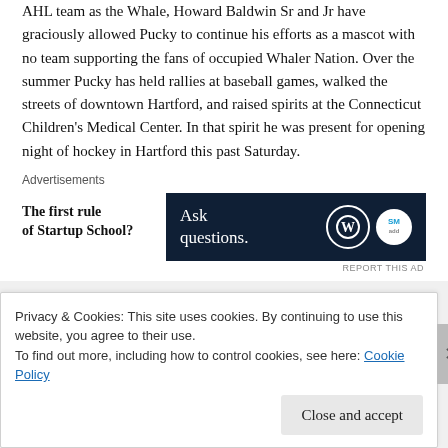AHL team as the Whale, Howard Baldwin Sr and Jr have graciously allowed Pucky to continue his efforts as a mascot with no team supporting the fans of occupied Whaler Nation. Over the summer Pucky has held rallies at baseball games, walked the streets of downtown Hartford, and raised spirits at the Connecticut Children's Medical Center. In that spirit he was present for opening night of hockey in Hartford this past Saturday.
Advertisements
[Figure (other): Advertisement box with left side showing 'The first rule of Startup School?' in bold text and right side showing dark navy background with 'Ask questions.' text and WordPress and another logo]
Privacy & Cookies: This site uses cookies. By continuing to use this website, you agree to their use.
To find out more, including how to control cookies, see here: Cookie Policy